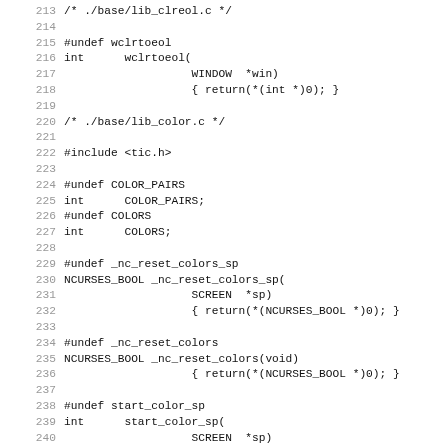Code listing lines 213-244 showing C source file stubs for ncurses library functions including wclrtoeol, COLOR_PAIRS, COLORS, _nc_reset_colors_sp, _nc_reset_colors, start_color_sp, start_color